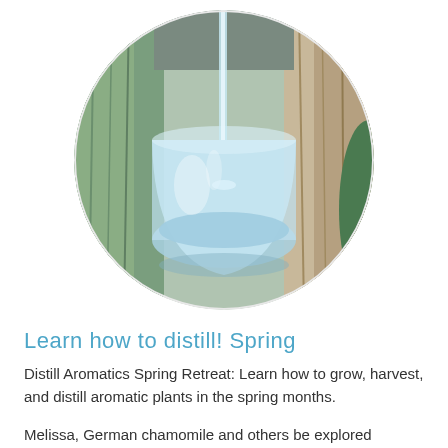[Figure (photo): Circular cropped photo of water being poured into a clear glass bowl, surrounded by green and brown plant leaves/husks, evoking distillation or plant extraction.]
Learn how to distill! Spring
Distill Aromatics Spring Retreat: Learn how to grow, harvest, and distill aromatic plants in the spring months.
Melissa, German chamomile and others be explored